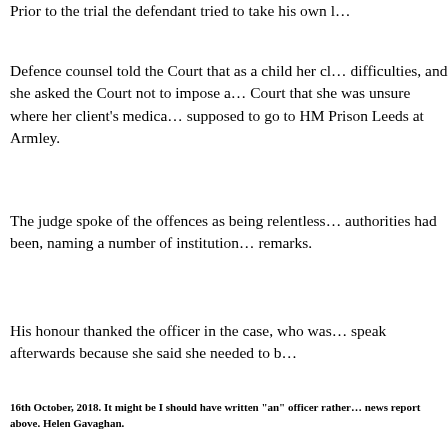Prior to the trial the defendant tried to take his own l…
Defence counsel told the Court that as a child her cl… difficulties, and she asked the Court not to impose a… Court that she was unsure where her client's medica… supposed to go to HM Prison Leeds at Armley.
The judge spoke of the offences as being relentless… authorities had been, naming a number of institution… remarks.
His honour thanked the officer in the case, who was… speak afterwards because she said she needed to b…
16th October, 2018. It might be I should have written "an" officer rather… news report above. Helen Gavaghan.